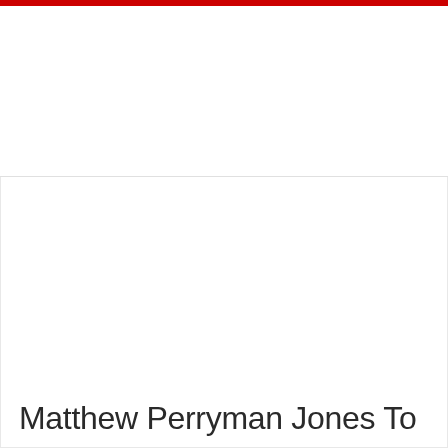[Figure (photo): Large blank/white image area placeholder in article layout]
Matthew Perryman Jones To